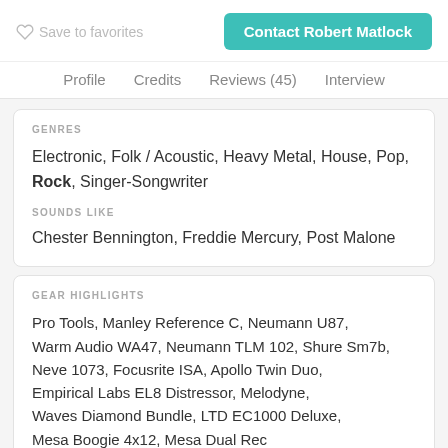Save to favorites
Contact Robert Matlock
Profile  Credits  Reviews (45)  Interview
GENRES
Electronic, Folk / Acoustic, Heavy Metal, House, Pop, Rock, Singer-Songwriter
SOUNDS LIKE
Chester Bennington, Freddie Mercury, Post Malone
GEAR HIGHLIGHTS
Pro Tools, Manley Reference C, Neumann U87, Warm Audio WA47, Neumann TLM 102, Shure Sm7b, Neve 1073, Focusrite ISA, Apollo Twin Duo, Empirical Labs EL8 Distressor, Melodyne, Waves Diamond Bundle, LTD EC1000 Deluxe, Mesa Boogie 4x12, Mesa Dual Rec